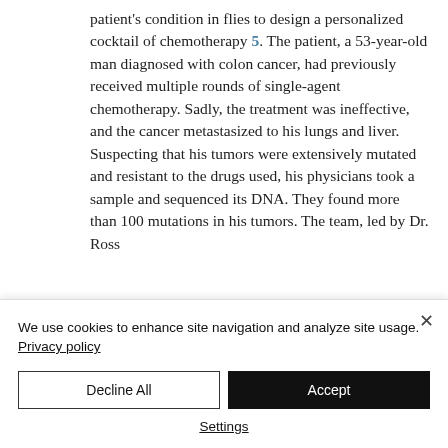patient's condition in flies to design a personalized cocktail of chemotherapy 5. The patient, a 53-year-old man diagnosed with colon cancer, had previously received multiple rounds of single-agent chemotherapy. Sadly, the treatment was ineffective, and the cancer metastasized to his lungs and liver. Suspecting that his tumors were extensively mutated and resistant to the drugs used, his physicians took a sample and sequenced its DNA. They found more than 100 mutations in his tumors. The team, led by Dr. Ross [continues…]
We use cookies to enhance site navigation and analyze site usage. Privacy policy
Decline All
Accept
Settings